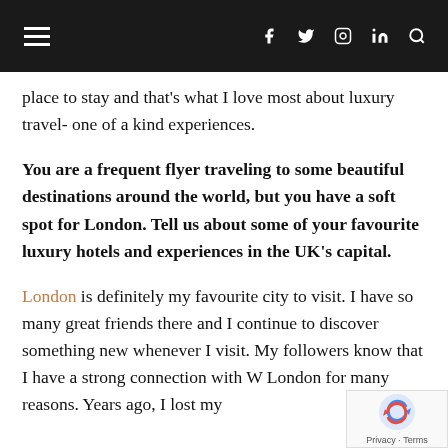≡  f  🐦  📷  in  🔍
place to stay and that's what I love most about luxury travel- one of a kind experiences.
You are a frequent flyer traveling to some beautiful destinations around the world, but you have a soft spot for London. Tell us about some of your favourite luxury hotels and experiences in the UK's capital.
London is definitely my favourite city to visit. I have so many great friends there and I continue to discover something new whenever I visit. My followers know that I have a strong connection with W London for many reasons. Years ago, I lost my